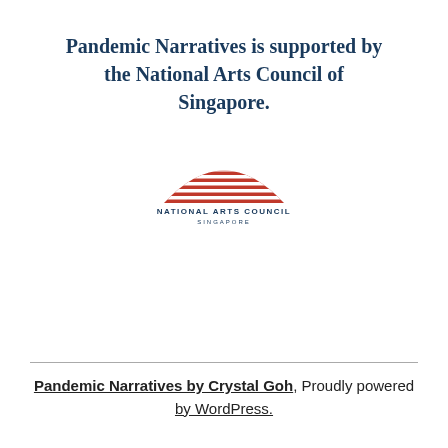Pandemic Narratives is supported by the National Arts Council of Singapore.
[Figure (logo): National Arts Council Singapore logo — red striped mountain/arch shape above text NATIONAL ARTS COUNCIL SINGAPORE]
Pandemic Narratives by Crystal Goh, Proudly powered by WordPress.